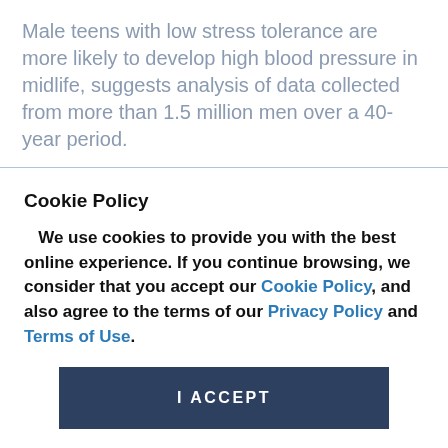Male teens with low stress tolerance are more likely to develop high blood pressure in midlife, suggests analysis of data collected from more than 1.5 million men over a 40-year period.
Cookie Policy
We use cookies to provide you with the best online experience. If you continue browsing, we consider that you accept our Cookie Policy, and also agree to the terms of our Privacy Policy and Terms of Use.